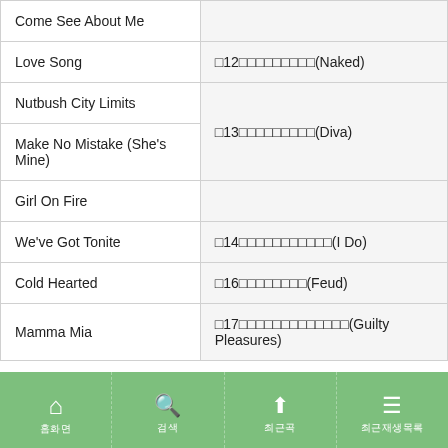| Song Title | Album/Track Info |
| --- | --- |
| Come See About Me |  |
| Love Song | □12□□□□□□□□□(Naked) |
| Nutbush City Limits |  |
| Make No Mistake (She's Mine) | □13□□□□□□□□□(Diva) |
| Girl On Fire |  |
| We've Got Tonite | □14□□□□□□□□□□□(I Do) |
| Cold Hearted | □16□□□□□□□□(Feud) |
| Mamma Mia | □17□□□□□□□□□□□□□(Guilty Pleasures) |
홈화면  검색  최근곡  최근재생목록